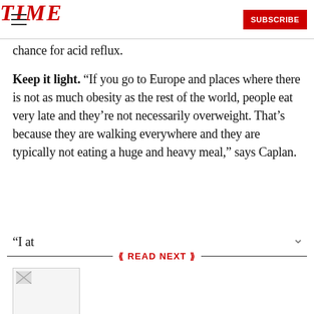TIME — SUBSCRIBE
chance for acid reflux.
Keep it light. “If you go to Europe and places where there is not as much obesity as the rest of the world, people eat very late and they’re not necessarily overweight. That’s because they are walking everywhere and they are typically not eating a huge and heavy meal,” says Caplan.
“I at… [text clipped at bottom]
READ NEXT
[Figure (photo): Broken/unloaded thumbnail image placeholder]